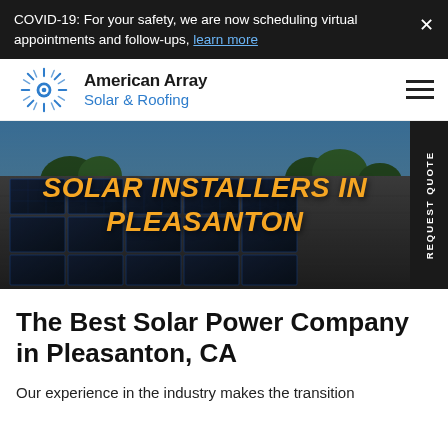COVID-19: For your safety, we are now scheduling virtual appointments and follow-ups, learn more
[Figure (logo): American Array Solar & Roofing logo with sun/rays icon]
[Figure (photo): Solar panels installed on a rooftop with trees and blue sky background, overlaid with text SOLAR INSTALLERS IN PLEASANTON in bold orange italic uppercase]
The Best Solar Power Company in Pleasanton, CA
Our experience in the industry makes the transition